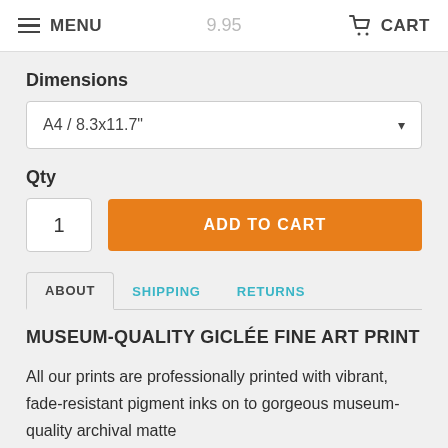MENU   CART
Dimensions
A4 / 8.3x11.7"
Qty
1
ADD TO CART
ABOUT   SHIPPING   RETURNS
MUSEUM-QUALITY GICLÉE FINE ART PRINT
All our prints are professionally printed with vibrant, fade-resistant pigment inks on to gorgeous museum-quality archival matte